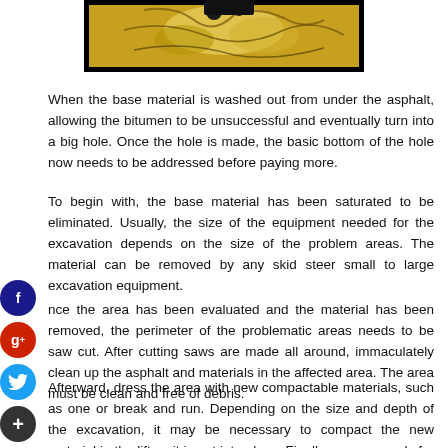[Figure (photo): Close-up photo of golden/yellow mechanical or decorative object with wire-like elements, partially visible at top of page]
When the base material is washed out from under the asphalt, allowing the bitumen to be unsuccessful and eventually turn into a big hole. Once the hole is made, the basic bottom of the hole now needs to be addressed before paying more.
To begin with, the base material has been saturated to be eliminated. Usually, the size of the equipment needed for the excavation depends on the size of the problem areas. The material can be removed by any skid steer small to large excavation equipment.
nce the area has been evaluated and the material has been removed, the perimeter of the problematic areas needs to be saw cut. After cutting saws are made all around, immaculately clean up the asphalt and materials in the affected area. The area must be clean and free of debris.
Afterward, dress the area with new compactable materials, such as one or break and run. Depending on the size and depth of the excavation, it may be necessary to compact the new material in the lift as it is put into place. Finally, you are ready for paving.